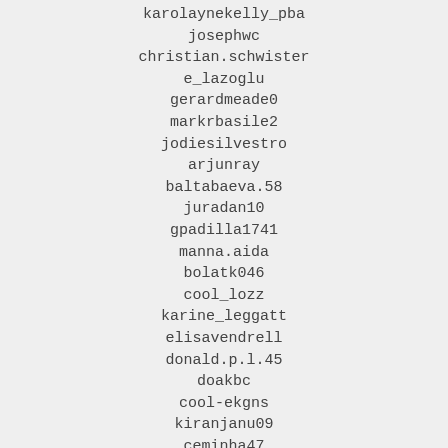karolaynekelly_pba
josephwc
christian.schwister
e_lazoglu
gerardmeade0
markrbasile2
jodiesilvestro
arjunray
baltabaeva.58
juradan10
gpadilla1741
manna.aida
bolatk046
cool_lozz
karine_leggatt
elisavendrell
donald.p.l.45
doakbc
cool-ekgns
kiranjanu09
ceminha47
friedchickenandybonny
mauricette1966
elmira.rubinskayaksa